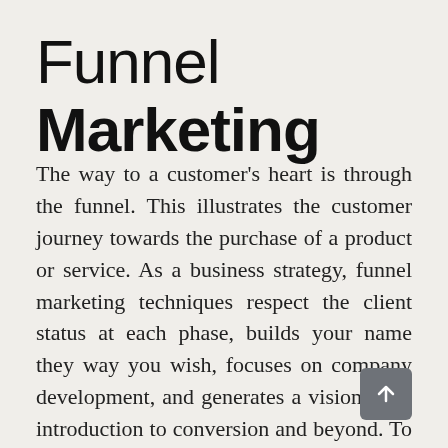Funnel Marketing
The way to a customer's heart is through the funnel. This illustrates the customer journey towards the purchase of a product or service. As a business strategy, funnel marketing techniques respect the client status at each phase, builds your name they way you wish, focuses on company development, and generates a vision from introduction to conversion and beyond. To accomplish this, our marketing model drives amid five stages: